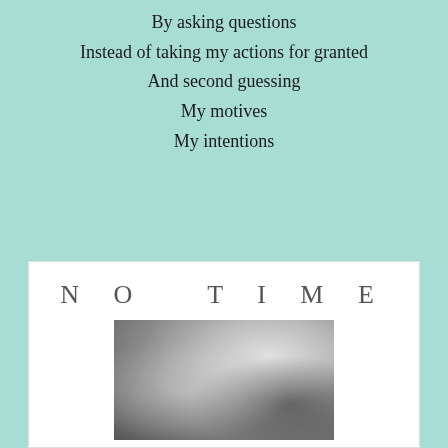By asking questions
Instead of taking my actions for granted
And second guessing
My motives
My intentions
NO TIME
[Figure (photo): Black and white photograph showing close-up of a person's lower face and hands holding an ornate decorated object]